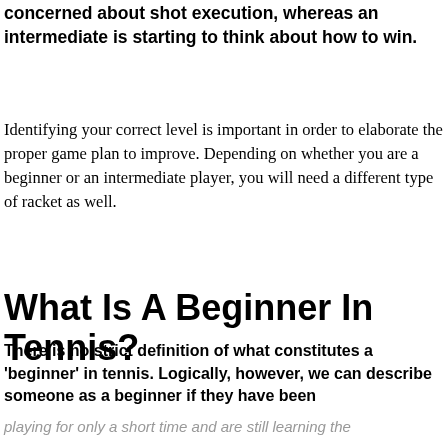concerned about shot execution, whereas an intermediate is starting to think about how to win.
Identifying your correct level is important in order to elaborate the proper game plan to improve. Depending on whether you are a beginner or an intermediate player, you will need a different type of racket as well.
What Is A Beginner In Tennis?
There is no strict definition of what constitutes a 'beginner' in tennis. Logically, however, we can describe someone as a beginner if they have been playing for only a short time and are still learning the fundamentals of the game.